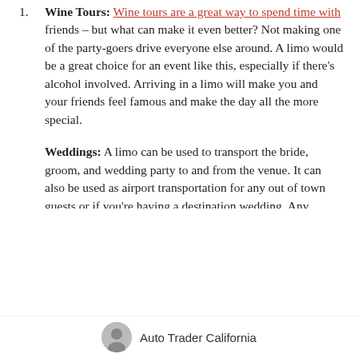Wine Tours: Wine tours are a great way to spend time with friends – but what can make it even better? Not making one of the party-goers drive everyone else around. A limo would be a great choice for an event like this, especially if there's alcohol involved. Arriving in a limo will make you and your friends feel famous and make the day all the more special.
Weddings: A limo can be used to transport the bride, groom, and wedding party to and from the venue. It can also be used as airport transportation for any out of town guests or if you're having a destination wedding. Any wedding day travel can be made even more glamorous if it's in a limo.
Auto Trader California